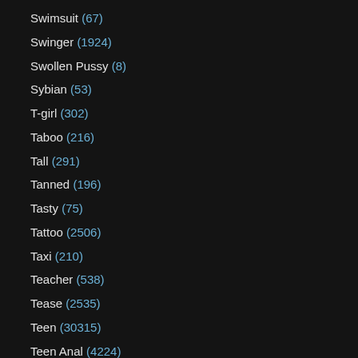Swimsuit (67)
Swinger (1924)
Swollen Pussy (8)
Sybian (53)
T-girl (302)
Taboo (216)
Tall (291)
Tanned (196)
Tasty (75)
Tattoo (2506)
Taxi (210)
Teacher (538)
Tease (2535)
Teen (30315)
Teen Anal (4224)
Teen Blowjob (8693)